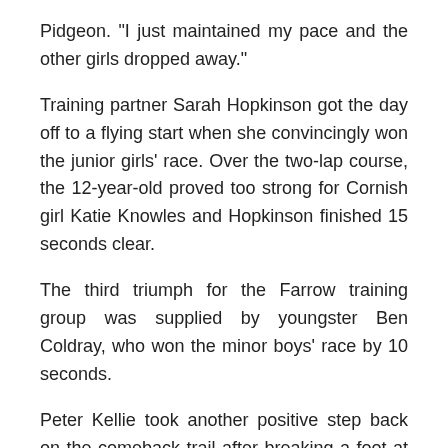Pidgeon. "I just maintained my pace and the other girls dropped away."
Training partner Sarah Hopkinson got the day off to a flying start when she convincingly won the junior girls' race. Over the two-lap course, the 12-year-old proved too strong for Cornish girl Katie Knowles and Hopkinson finished 15 seconds clear.
The third triumph for the Farrow training group was supplied by youngster Ben Coldray, who won the minor boys' race by 10 seconds.
Peter Kellie took another positive step back on the comeback trail after breaking a foot at the end of the summer. Kellie only started training again in October and is still way short of his best. He could not quite hold on to Tamworth's Paul Moores, who edged clear